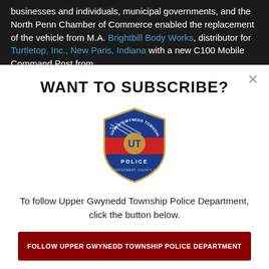businesses and individuals, municipal governments, and the North Penn Chamber of Commerce enabled the replacement of the vehicle from M.A. Brightbill Body Works, distributor for Turtletop, Inc., New Paris, Indiana with a new C100 Mobile Command Post from
WANT TO SUBSCRIBE?
[Figure (logo): Upper Gwynedd Township Police Department badge/patch — circular shield with 'UPPER GWYNEDD TOWNSHIP POLICE' text, American flag and heraldic lion imagery, 'MONTGOMERY PA' at bottom]
To follow Upper Gwynedd Township Police Department, click the button below.
FOLLOW UPPER GWYNEDD TOWNSHIP POLICE DEPARTMENT
Download the CRIMEWATCH app and follow Upper Gwynedd Township Police Department.